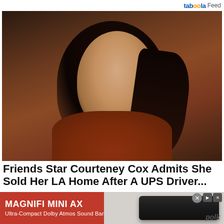taboola Feed
[Figure (photo): A dark-haired woman in a rust/orange top, looking toward the camera against a dark wooden background. Appears to be a celebrity photo.]
Friends Star Courteney Cox Admits She Sold Her LA Home After A UPS Driver...
Friends star Courteney Cox reveals that she actually sold her old home in LA after a helpful(?) UPS driver told her it ...
[Figure (advertisement): Magnifi Mini AX advertisement banner. Red background with white text reading 'MAGNIFI MINI AX' and 'Ultra-Compact Dolby Atmos Sound Bar'. Right side shows a gray background with a black soundbar device and 'polk' brand name.]